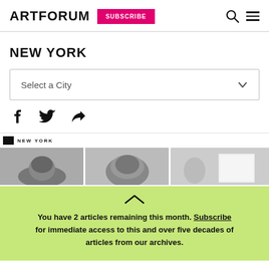ARTFORUM | SUBSCRIBE
NEW YORK
Select a City
[Figure (other): Social share icons: Facebook, Twitter, share/forward arrow]
[Figure (other): Article preview strip showing NEW YORK label and three black-and-white photo thumbnails]
You have 2 articles remaining this month. Subscribe for immediate access to this and over five decades of articles from our archives.